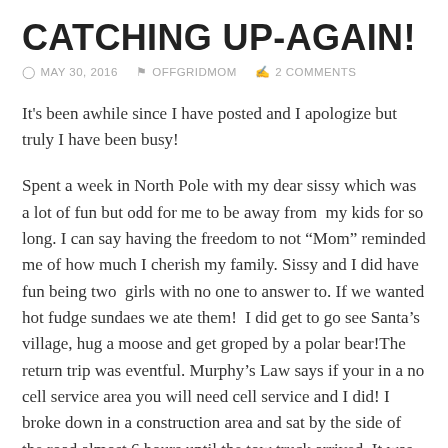CATCHING UP-AGAIN!
MAY 30, 2016   OFFGRIDMOM   2 COMMENTS
It’s been awhile since I have posted and I apologize but truly I have been busy!
Spent a week in North Pole with my dear sissy which was a lot of fun but odd for me to be away from  my kids for so long. I can say having the freedom to not “Mom” reminded me of how much I cherish my family. Sissy and I did have fun being two  girls with no one to answer to. If we wanted hot fudge sundaes we ate them!  I did get to go see Santa’s village, hug a moose and get groped by a polar bear!The return trip was eventful. Murphy’s Law says if your in a no cell service area you will need cell service and I did! I broke down in a construction area and sat by the side of the road almost 6 hours until the tow truck arrived. It was not boring though by any means! The construction workers were so thoughtful and kept the coffee